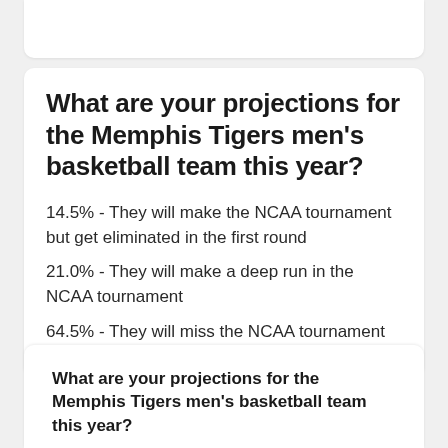What are your projections for the Memphis Tigers men's basketball team this year?
14.5% - They will make the NCAA tournament but get eliminated in the first round
21.0% - They will make a deep run in the NCAA tournament
64.5% - They will miss the NCAA tournament
What are your projections for the Memphis Tigers men's basketball team this year?